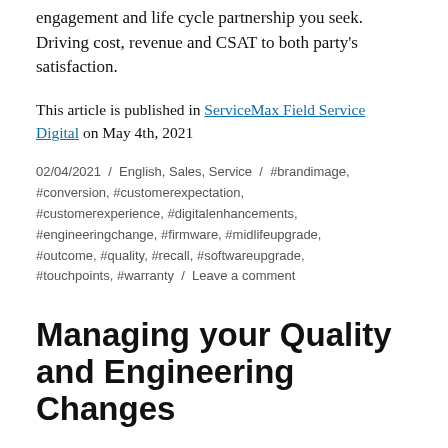engagement and life cycle partnership you seek. Driving cost, revenue and CSAT to both party's satisfaction.
This article is published in ServiceMax Field Service Digital on May 4th, 2021
02/04/2021 / English, Sales, Service / #brandimage, #conversion, #customerexpectation, #customerexperience, #digitalenhancements, #engineeringchange, #firmware, #midlifeupgrade, #outcome, #quality, #recall, #softwareupgrade, #touchpoints, #warranty / Leave a comment
Managing your Quality and Engineering Changes